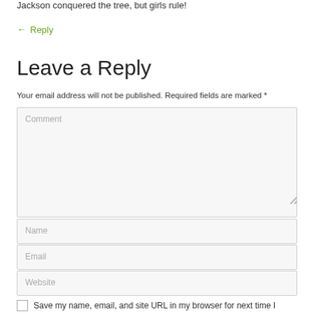Jackson conquered the tree, but girls rule!
← Reply
Leave a Reply
Your email address will not be published. Required fields are marked *
[Figure (screenshot): Comment text area input field with placeholder text 'Comment']
[Figure (screenshot): Name input field with placeholder text 'Name']
[Figure (screenshot): Email input field with placeholder text 'Email']
[Figure (screenshot): Website input field with placeholder text 'Website']
Save my name, email, and site URL in my browser for next time I